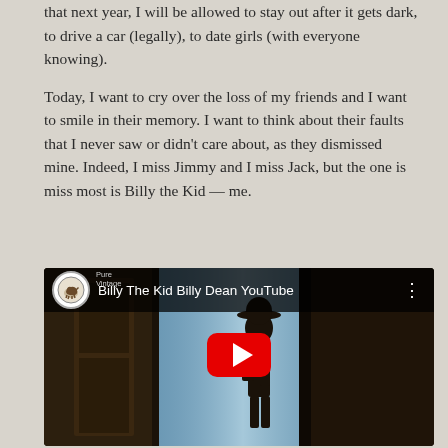that next year, I will be allowed to stay out after it gets dark, to drive a car (legally), to date girls (with everyone knowing).
Today, I want to cry over the loss of my friends and I want to smile in their memory. I want to think about their faults that I never saw or didn't care about, as they dismissed mine. Indeed, I miss Jimmy and I miss Jack, but the one is miss most is Billy the Kid — me.
[Figure (screenshot): YouTube video embed showing 'Billy The Kid Billy Dean YouTube' with channel icon, video title bar, and play button overlaid on a dark video thumbnail showing a silhouette figure]